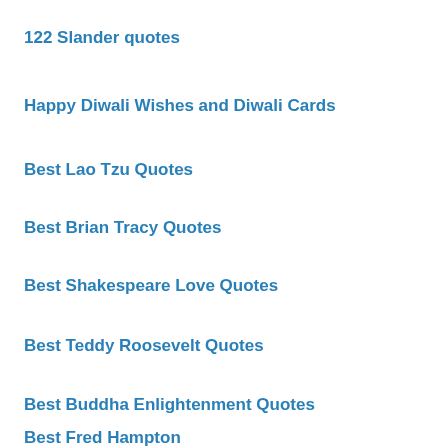122 Slander quotes
Happy Diwali Wishes and Diwali Cards
Best Lao Tzu Quotes
Best Brian Tracy Quotes
Best Shakespeare Love Quotes
Best Teddy Roosevelt Quotes
Best Buddha Enlightenment Quotes
Best Fred Hampton